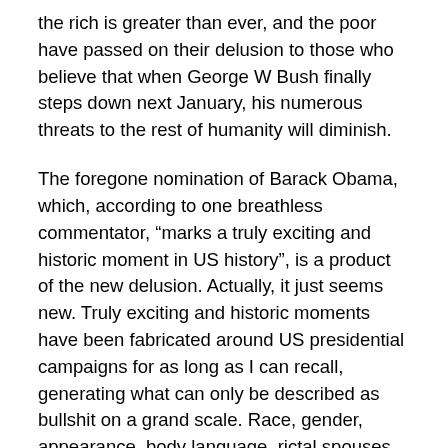the rich is greater than ever, and the poor have passed on their delusion to those who believe that when George W Bush finally steps down next January, his numerous threats to the rest of humanity will diminish.
The foregone nomination of Barack Obama, which, according to one breathless commentator, “marks a truly exciting and historic moment in US history”, is a product of the new delusion. Actually, it just seems new. Truly exciting and historic moments have been fabricated around US presidential campaigns for as long as I can recall, generating what can only be described as bullshit on a grand scale. Race, gender, appearance, body language, rictal spouses and offspring, even bursts of tragic grandeur, are all subsumed by marketing and “image-making”, now magnified by “virtual” technology. Thanks to an undemocratic electoral college system (or, in Bush’s